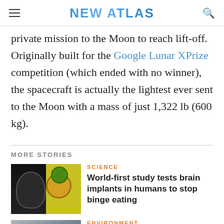NEW ATLAS
private mission to the Moon to reach lift-off. Originally built for the Google Lunar XPrize competition (which ended with no winner), the spacecraft is actually the lightest ever sent to the Moon with a mass of just 1,322 lb (600 kg).
MORE STORIES
SCIENCE
World-first study tests brain implants in humans to stop binge eating
ENVIRONMENT
Canon is now recycling discarded toner into an asphalt additive